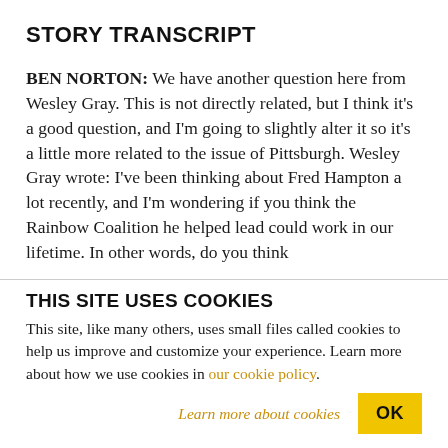STORY TRANSCRIPT
BEN NORTON: We have another question here from Wesley Gray. This is not directly related, but I think it's a good question, and I'm going to slightly alter it so it's a little more related to the issue of Pittsburgh. Wesley Gray wrote: I've been thinking about Fred Hampton a lot recently, and I'm wondering if you think the Rainbow Coalition he helped lead could work in our lifetime. In other words, do you think
THIS SITE USES COOKIES
This site, like many others, uses small files called cookies to help us improve and customize your experience. Learn more about how we use cookies in our cookie policy.
Learn more about cookies
OK